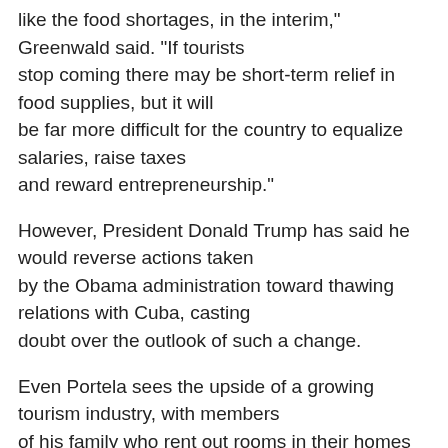like the food shortages, in the interim," Greenwald said. "If tourists stop coming there may be short-term relief in food supplies, but it will be far more difficult for the country to equalize salaries, raise taxes and reward entrepreneurship."
However, President Donald Trump has said he would reverse actions taken by the Obama administration toward thawing relations with Cuba, casting doubt over the outlook of such a change.
Even Portela sees the upside of a growing tourism industry, with members of his family who rent out rooms in their homes to tourists benefiting from the influx. The government has allowed citizens to rent out rooms of their homes since 1997 through a program called 'casas particulares.'